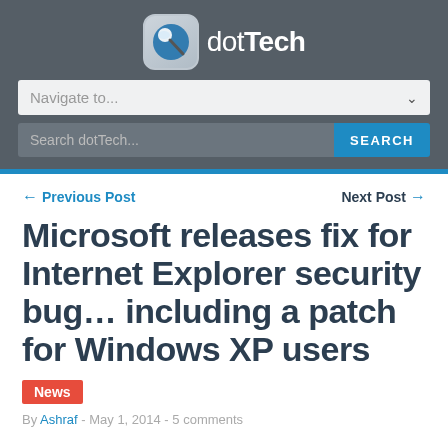dotTech
[Figure (screenshot): Navigate to... dropdown selector]
[Figure (screenshot): Search dotTech... search bar with SEARCH button]
Previous Post   Next Post
Microsoft releases fix for Internet Explorer security bug... including a patch for Windows XP users
News
By Ashraf - May 1, 2014 - 5 comments